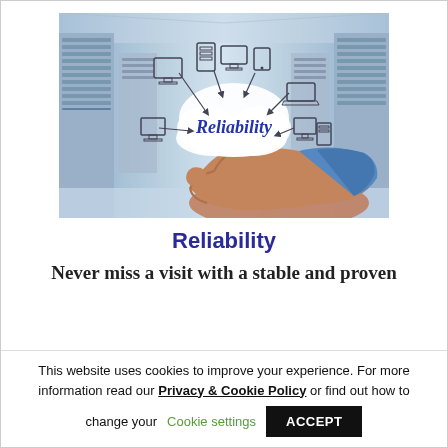[Figure (illustration): A hand holding a cloud graphic labeled 'Reliability' with various computer/server device icons connected by arrows, set against a blurred data center background with server racks.]
Reliability
Never miss a visit with a stable and proven
This website uses cookies to improve your experience. For more information read our Privacy & Cookie Policy or find out how to change your Cookie settings
ACCEPT